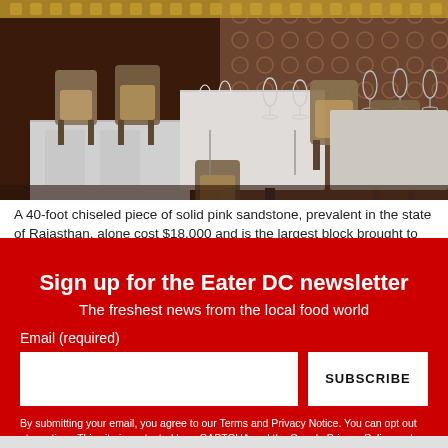[Figure (photo): Interior of an upscale restaurant with set tables, wine glasses, chairs, and ornate patterned wall decor]
A 40-foot chiseled piece of solid pink sandstone, prevalent in the state of Rajasthan, alone cost $18,000 and is the largest block brought to the...
close ✕
Sign up for the Eater DC newsletter
The freshest news from the local food world
Email (required)
SUBSCRIBE
By submitting your email, you agree to our Terms and Privacy Notice. You can opt out at any time. This site is protected by reCAPTCHA and the Google Privacy Policy and Terms of Service apply.